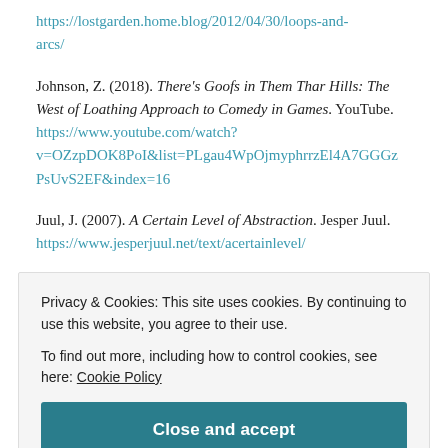https://lostgarden.home.blog/2012/04/30/loops-and-arcs/
Johnson, Z. (2018). There's Goofs in Them Thar Hills: The West of Loathing Approach to Comedy in Games. YouTube. https://www.youtube.com/watch?v=OZzpDOK8PoI&list=PLgau4WpOjmyphrrzEl4A7GGGzPsUvS2EF&index=16
Juul, J. (2007). A Certain Level of Abstraction. Jesper Juul. https://www.jesperjuul.net/text/acertainlevel/
Privacy & Cookies: This site uses cookies. By continuing to use this website, you agree to their use.
To find out more, including how to control cookies, see here: Cookie Policy
Lee, G. (2019). Untitled Goose Game: Is it Good to Be Bad?